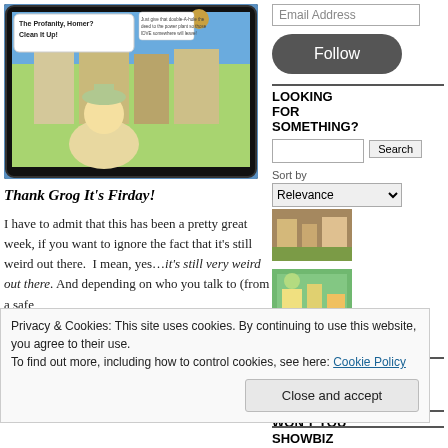[Figure (screenshot): A game screenshot on a tablet showing a Simpsons-style character with speech bubble 'The Profanity, Homer? Clean It Up!' and text about the power plant]
Thank Grog It's Firday!
I have to admit that this has been a pretty great week, if you want to ignore the fact that it's still weird out there.  I mean, yes…it's still very weird out there. And depending on who you talk to (from a safe
Email Address
Follow
LOOKING FOR SOMETHING?
Search
Sort by
Relevance
[Figure (photo): Aerial game screenshot thumbnail]
[Figure (photo): Aerial game screenshot thumbnail with theme park]
More Photos
ARCHIVES
May 2020
WON'T YOU
SHOWBIZ
Privacy & Cookies: This site uses cookies. By continuing to use this website, you agree to their use.
To find out more, including how to control cookies, see here: Cookie Policy
Close and accept